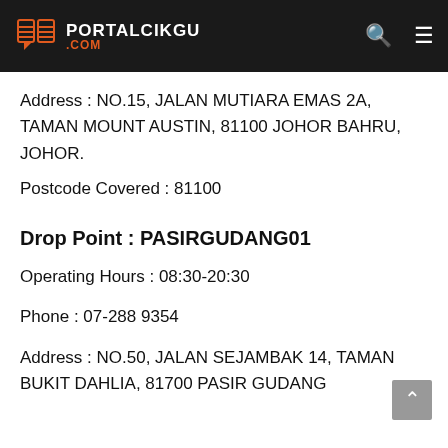PORTALCIKGU .COM
Address : NO.15, JALAN MUTIARA EMAS 2A, TAMAN MOUNT AUSTIN, 81100 JOHOR BAHRU, JOHOR.
Postcode Covered : 81100
Drop Point : PASIRGUDANG01
Operating Hours : 08:30-20:30
Phone : 07-288 9354
Address : NO.50, JALAN SEJAMBAK 14, TAMAN BUKIT DAHLIA, 81700 PASIR GUDANG